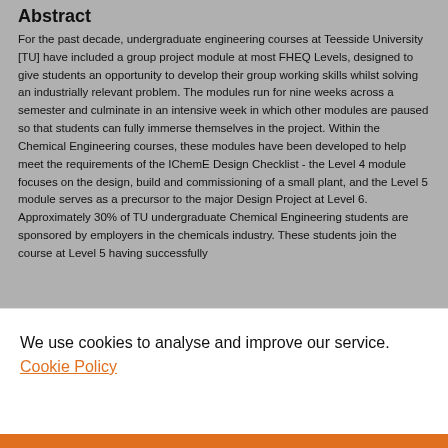Abstract
For the past decade, undergraduate engineering courses at Teesside University [TU] have included a group project module at most FHEQ Levels, designed to give students an opportunity to develop their group working skills whilst solving an industrially relevant problem. The modules run for nine weeks across a semester and culminate in an intensive week in which other modules are paused so that students can fully immerse themselves in the project. Within the Chemical Engineering courses, these modules have been developed to help meet the requirements of the IChemE Design Checklist - the Level 4 module focuses on the design, build and commissioning of a small plant, and the Level 5 module serves as a precursor to the major Design Project at Level 6.
Approximately 30% of TU undergraduate Chemical Engineering students are sponsored by employers in the chemicals industry. These students join the course at Level 5 having successfully
We use cookies to analyse and improve our service. Cookie Policy